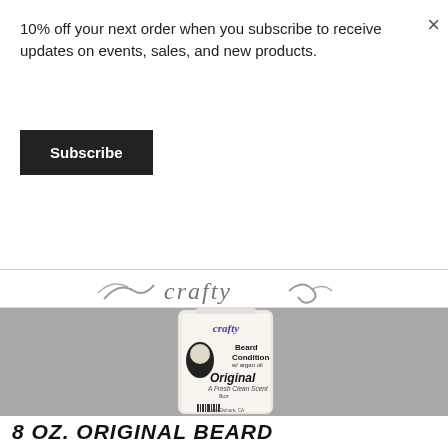10% off your next order when you subscribe to receive updates on events, sales, and new products.
Subscribe
[Figure (photo): Partial view of a crafty-branded logo strip showing decorative script lettering]
[Figure (photo): Product photo of Crafty Beard Conditioner bottle – Original Fresh Clean Scent, 8oz, with argan oil, Lake Elsinore CA, www.craftgroom...]
8 OZ. ORIGINAL BEARD CONDITIONER